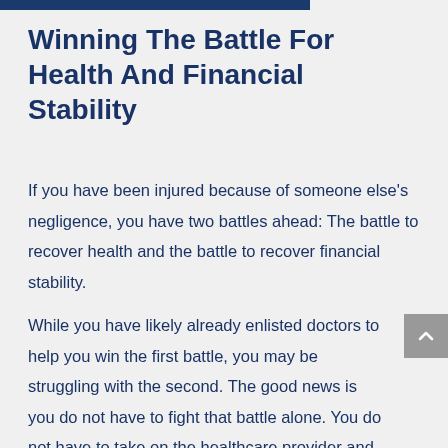Winning The Battle For Health And Financial Stability
If you have been injured because of someone else’s negligence, you have two battles ahead: The battle to recover health and the battle to recover financial stability.
While you have likely already enlisted doctors to help you win the first battle, you may be struggling with the second. The good news is you do not have to fight that battle alone. You do not have to take on the healthcare provider and their insurance